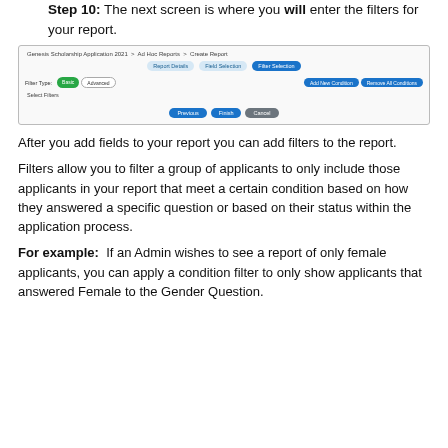Step 10: The next screen is where you will enter the filters for your report.
[Figure (screenshot): Screenshot of the Create Report - Filter Selection screen, showing breadcrumb navigation (Genesis Scholarship Application 2021 > Ad Hoc Reports > Create Report), three step tabs (Report Details, Field Selection, Filter Selection), Filter Type toggle with Basic selected, Advanced button, Add New Condition and Remove All Conditions buttons, Select Filters area, and Previous/Finish/Cancel buttons.]
After you add fields to your report you can add filters to the report.
Filters allow you to filter a group of applicants to only include those applicants in your report that meet a certain condition based on how they answered a specific question or based on their status within the application process.
For example:  If an Admin wishes to see a report of only female applicants, you can apply a condition filter to only show applicants that answered Female to the Gender Question.